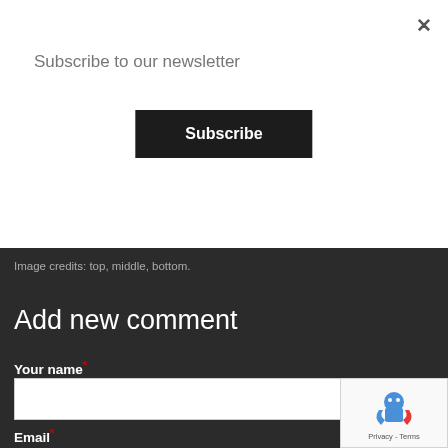×
Subscribe to our newsletter
Subscribe
Image credits: top, middle, bottom.
Add new comment
Your name *
Email *
Comment *
[Figure (other): reCAPTCHA badge with robot icon and Privacy - Terms text]